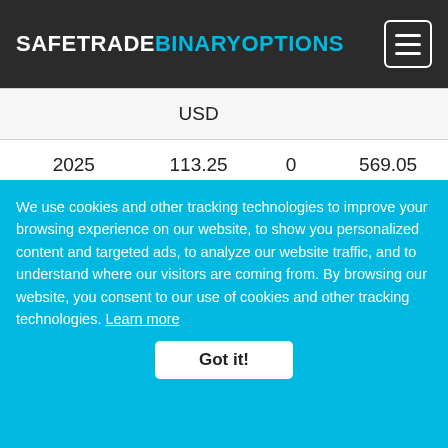SAFETRADEBINARYOPTIONS
| Month | Amount | Fee | Total |
| --- | --- | --- | --- |
|  | USD |  |  |
| 2025 February | 113.25 USD | 0 USD | 569.05 USD |
| 2025 March | 97.53 USD | 0 USD | 567.23 USD |
| 2025 April | 111.47 USD | 0 USD | 600.3 USD |
| 2025 May | 129.16 | 0 USD | 642.54 USD |
| 2025 August |  | 0 USD |  |
We use cookies and other tracking technologies to improve your browsing experience on our website, to show you personalized content and targeted ads, to analyze our website traffic, and to understand where our visitors are coming from. By browsing our website, you consent to our use of cookies and other tracking technologies. Learn more
Got it!